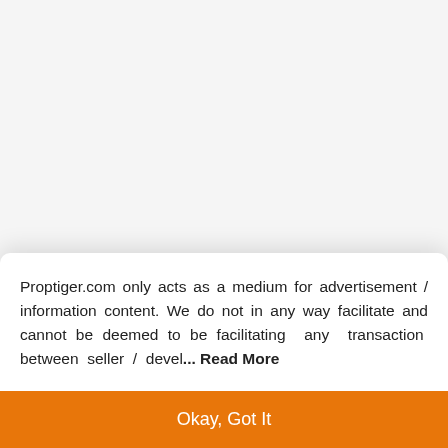[Figure (screenshot): Top area white/light gray blank area representing a floor plan or image area]
2D | 3D
4 Bathrooms  4 Bedrooms
Proptiger.com only acts as a medium for advertisement / information content. We do not in any way facilitate and cannot be deemed to be facilitating any transaction between seller / devel... Read More
Okay, Got It